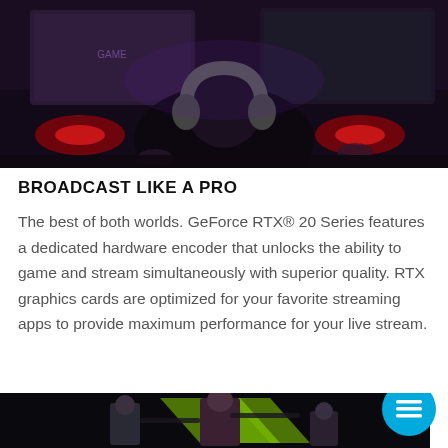[Figure (photo): Dark gaming setup with a person wearing large headphones viewed from behind, two monitors visible, glowing red RGB lighting.]
BROADCAST LIKE A PRO
The best of both worlds. GeForce RTX® 20 Series features a dedicated hardware encoder that unlocks the ability to game and stream simultaneously with superior quality. RTX graphics cards are optimized for your favorite streaming apps to provide maximum performance for your live stream.
[Figure (photo): Dark action gaming scene with armed characters in front of green geometric NVIDIA logo shapes on a black background. A blue circular chat/menu FAB button overlays bottom right, with an orange strip on the far right.]